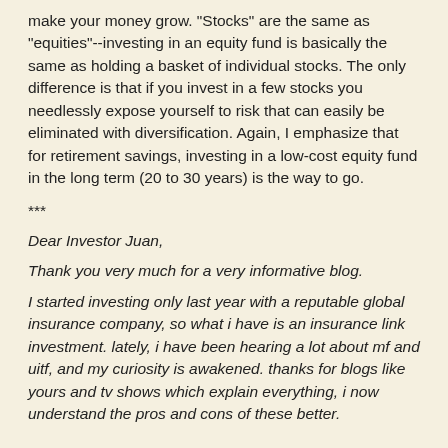make your money grow. "Stocks" are the same as "equities"--investing in an equity fund is basically the same as holding a basket of individual stocks. The only difference is that if you invest in a few stocks you needlessly expose yourself to risk that can easily be eliminated with diversification. Again, I emphasize that for retirement savings, investing in a low-cost equity fund in the long term (20 to 30 years) is the way to go.
***
Dear Investor Juan,
Thank you very much for a very informative blog.
I started investing only last year with a reputable global insurance company, so what i have is an insurance link investment. lately, i have been hearing a lot about mf and uitf, and my curiosity is awakened. thanks for blogs like yours and tv shows which explain everything, i now understand the pros and cons of these better.